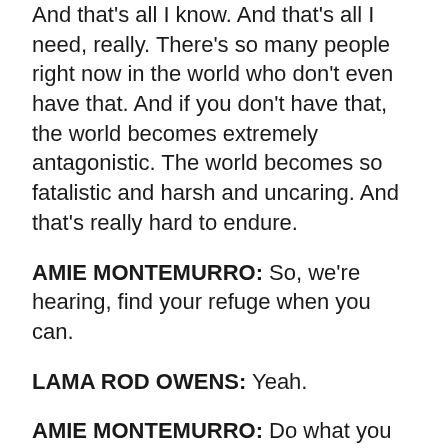And that's all I know. And that's all I need, really. There's so many people right now in the world who don't even have that. And if you don't have that, the world becomes extremely antagonistic. The world becomes so fatalistic and harsh and uncaring. And that's really hard to endure.
AMIE MONTEMURRO: So, we're hearing, find your refuge when you can.
LAMA ROD OWENS: Yeah.
AMIE MONTEMURRO: Do what you can to help alleviate suffering.
LAMA ROD OWENS: Yeah. And then I would say also, is the compassion as well. I think it's really easy for us to say, those people are the